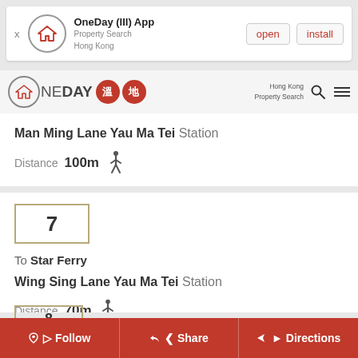[Figure (screenshot): OneDay App banner with open and install buttons]
OneDay App — Hong Kong Property Search navigation bar
Man Ming Lane Yau Ma Tei Station
Distance 100m
7
To Star Ferry
Wing Sing Lane Yau Ma Tei Station
Distance 70m
8 (partial)
Follow | Share | Directions